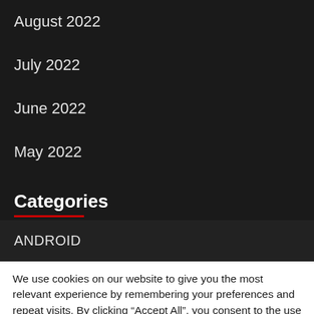August 2022
July 2022
June 2022
May 2022
Categories
ANDROID
We use cookies on our website to give you the most relevant experience by remembering your preferences and repeat visits. By clicking “Accept All”, you consent to the use of ALL the cookies. However, you may visit "Cookie Settings" to provide a controlled consent.